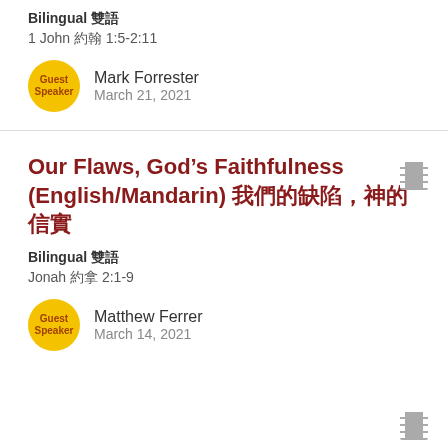Bilingual 雙語
1 John 約翰 1:5-2:11
Mark Forrester
March 21, 2021
Our Flaws, God's Faithfulness (English/Mandarin) 我們的缺陷，神的信實
Bilingual 雙語
Jonah 約拿 2:1-9
Matthew Ferrer
March 14, 2021